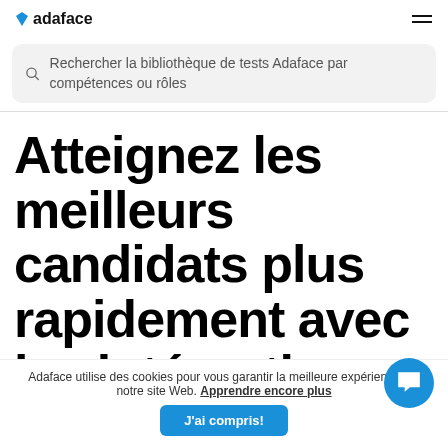adaface
Rechercher la bibliothèque de tests Adaface par compétences ou rôles
Atteignez les meilleurs candidats plus rapidement avec les intégrations
Adaface utilise des cookies pour vous garantir la meilleure expérience sur notre site Web. Apprendre encore plus
J'ai compris!